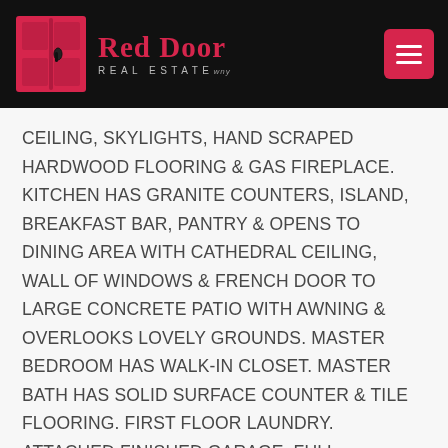Red Door Real Estate
CEILING, SKYLIGHTS, HAND SCRAPED HARDWOOD FLOORING & GAS FIREPLACE. KITCHEN HAS GRANITE COUNTERS, ISLAND, BREAKFAST BAR, PANTRY & OPENS TO DINING AREA WITH CATHEDRAL CEILING, WALL OF WINDOWS & FRENCH DOOR TO LARGE CONCRETE PATIO WITH AWNING & OVERLOOKS LOVELY GROUNDS. MASTER BEDROOM HAS WALK-IN CLOSET. MASTER BATH HAS SOLID SURFACE COUNTER & TILE FLOORING. FIRST FLOOR LAUNDRY. ATTACHED FINISHED GARAGE. FULL BASEMENT. 150 AMP ELECTRIC. CENTRAL AIR. QUALITY BUILT BY STICKL CONSTRUCTION. HOA INCLUDES HIGH SPEED INTERNET, CABLE, LAWN